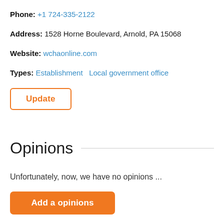Phone: +1 724-335-2122
Address: 1528 Horne Boulevard, Arnold, PA 15068
Website: wchaonline.com
Types: Establishment   Local government office
Update
Opinions
Unfortunately, now, we have no opinions ...
Add a opinions